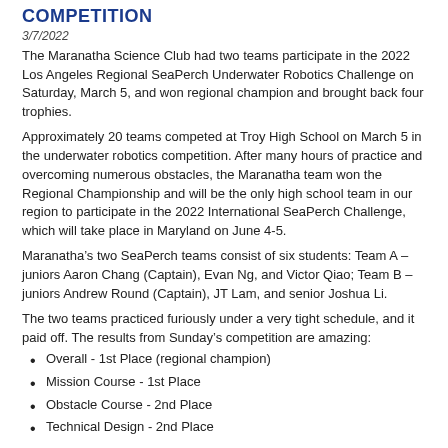COMPETITION
3/7/2022
The Maranatha Science Club had two teams participate in the 2022 Los Angeles Regional SeaPerch Underwater Robotics Challenge on Saturday, March 5, and won regional champion and brought back four trophies.
Approximately 20 teams competed at Troy High School on March 5 in the underwater robotics competition. After many hours of practice and overcoming numerous obstacles, the Maranatha team won the Regional Championship and will be the only high school team in our region to participate in the 2022 International SeaPerch Challenge, which will take place in Maryland on June 4-5.
Maranatha’s two SeaPerch teams consist of six students: Team A – juniors Aaron Chang (Captain), Evan Ng, and Victor Qiao; Team B – juniors Andrew Round (Captain), JT Lam, and senior Joshua Li.
The two teams practiced furiously under a very tight schedule, and it paid off. The results from Sunday’s competition are amazing:
Overall - 1st Place (regional champion)
Mission Course - 1st Place
Obstacle Course - 2nd Place
Technical Design - 2nd Place